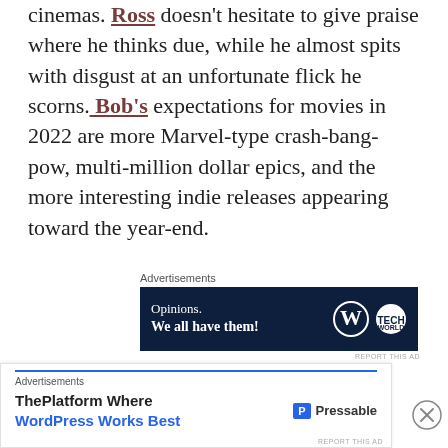cinemas. Ross doesn't hesitate to give praise where he thinks due, while he almost spits with disgust at an unfortunate flick he scorns. Bob's expectations for movies in 2022 are more Marvel-type crash-bang-pow, multi-million dollar epics, and the more interesting indie releases appearing toward the year-end.
[Figure (infographic): Advertisement banner with dark navy background reading 'Opinions. We all have them!' with WordPress and Tech World logos]
The h...
[Figure (infographic): Advertisement banner reading 'ThePlatform Where WordPress Works Best' with Pressable logo]